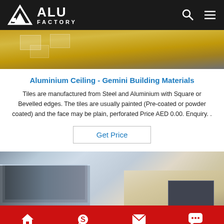ALU FACTORY
[Figure (photo): Top product image strip showing aluminium ceiling tiles on a golden/tan background]
Aluminium Ceiling - Gemini Building Materials
Tiles are manufactured from Steel and Aluminium with Square or Bevelled edges. The tiles are usually painted (Pre-coated or powder coated) and the face may be plain, perforated Price AED 0.00. Enquiry. .
Get Price
[Figure (photo): Bottom product image showing stacked aluminium sheets and panels in silver/grey tones]
Home   Skype   E-Mail   Inquiry